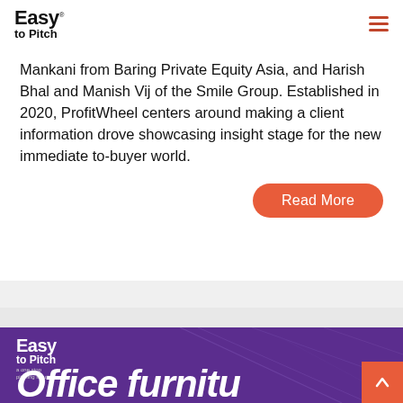Easy to Pitch
Mankani from Baring Private Equity Asia, and Harish Bhal and Manish Vij of the Smile Group. Established in 2020, ProfitWheel centers around making a client information drove showcasing insight stage for the new immediate to-buyer world.
Read More
[Figure (logo): Easy to Pitch logo on purple background with decorative line art, tagline 'a one stop pitching solution', partial text 'Office furniture' visible at bottom, and an orange back-to-top arrow button]